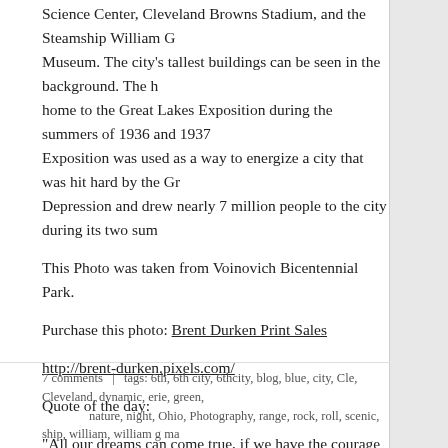Science Center, Cleveland Browns Stadium, and the Steamship William G Museum. The city's tallest buildings can be seen in the background. The h home to the Great Lakes Exposition during the summers of 1936 and 1937 Exposition was used as a way to energize a city that was hit hard by the Gr Depression and drew nearly 7 million people to the city during its two sum
This Photo was taken from Voinovich Bicentennial Park.
Purchase this photo: Brent Durken Print Sales
http://brent-durken.pixels.com/
Quote of the day:
“All our dreams can come true, if we have the courage to pursue them.”-  Walt Disney
Share this:
Share
7 comments  |  tags: 6th, 6th city, 6thcity, blog, blue, city, Cle, Cleveland, dynamic, erie, green, nature, night, Ohio, Photography, range, rock, roll, scenic, ship, william, william g ma